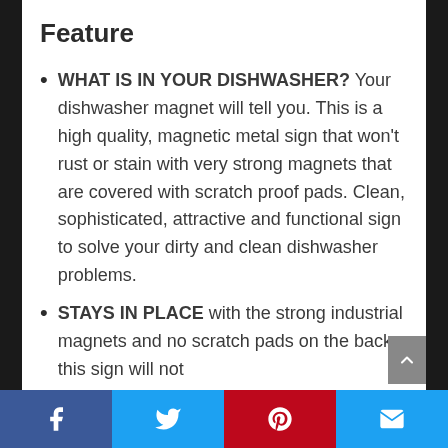Feature
WHAT IS IN YOUR DISHWASHER? Your dishwasher magnet will tell you. This is a high quality, magnetic metal sign that won't rust or stain with very strong magnets that are covered with scratch proof pads. Clean, sophisticated, attractive and functional sign to solve your dirty and clean dishwasher problems.
STAYS IN PLACE with the strong industrial magnets and no scratch pads on the back, this sign will not